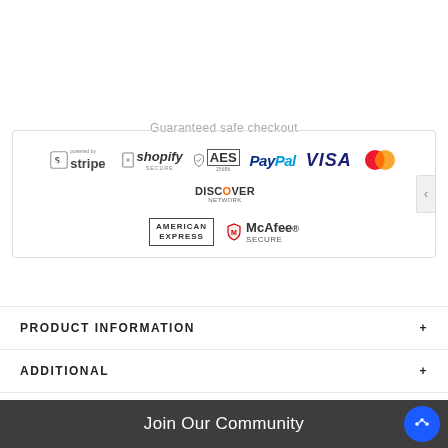[Figure (infographic): Guaranteed safe checkout banner with payment provider logos: Stripe, Shopify Secure, AES 256Bit, PayPal, VISA, MasterCard, Discover Network, American Express, McAfee Secure]
PRODUCT INFORMATION
ADDITIONAL
CUSTOM TAB
CUSTOMER REVIEWS
Join Our Community